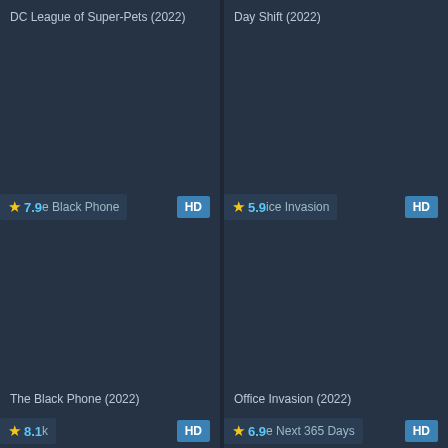DC League of Super-Pets (2022)
Day Shift (2022)
[Figure (screenshot): Movie card thumbnail for DC League of Super-Pets with rating badge showing star 7.9 and HD badge]
[Figure (screenshot): Movie card thumbnail for Day Shift with rating badge showing star 5.9 and HD badge]
The Black Phone (2022)
Office Invasion (2022)
[Figure (screenshot): Movie card thumbnail for The Black Phone with rating badge showing star 8.1 and HD badge]
[Figure (screenshot): Movie card thumbnail for Office Invasion with rating badge showing star 6.9 and next title The Next 365 Days and HD badge]